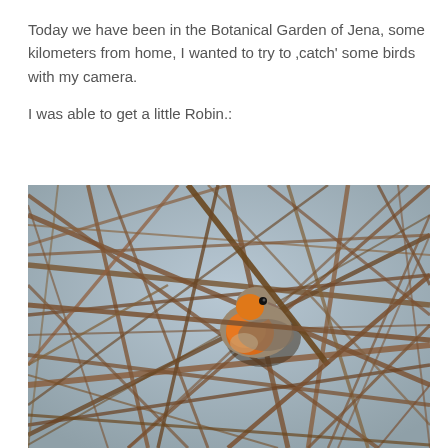Today we have been in the Botanical Garden of Jena, some kilometers from home, I wanted to try to “catch’ some birds with my camera.
I was able to get a little Robin.:
[Figure (photo): A European Robin bird perched among a dense tangle of bare brown twigs and branches. The robin has a distinctive orange-red breast and face, small black eye, and grey-brown back and wings. The background is blurred grey-blue sky visible between the branches.]